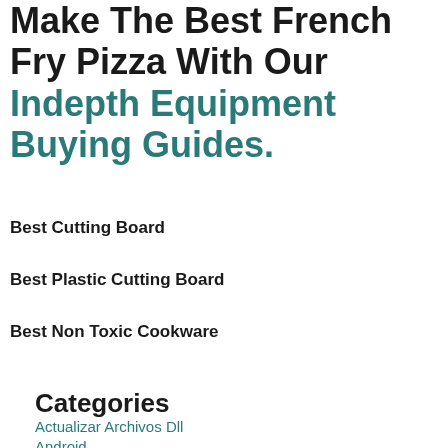Make The Best French Fry Pizza With Our Indepth Equipment Buying Guides.
Best Cutting Board
Best Plastic Cutting Board
Best Non Toxic Cookware
Categories
Actualizar Archivos Dll
Android
Cookers
Cooking